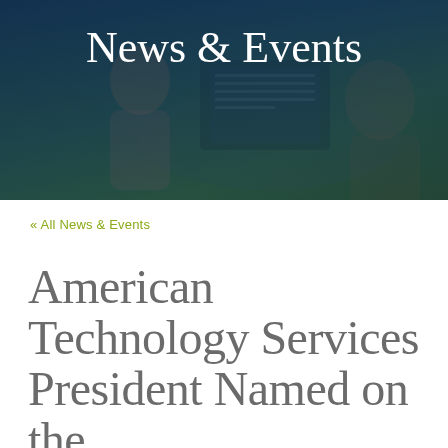[Figure (photo): Hero banner image showing two people working at a desk with a computer monitor, overlaid with a dark blue-green tinted overlay]
News & Events
« All News & Events
American Technology Services President Named on the